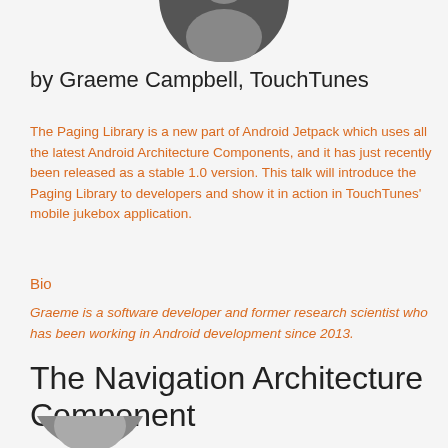[Figure (photo): Circular portrait photo of Graeme Campbell, partially cropped at top of page]
by Graeme Campbell, TouchTunes
The Paging Library is a new part of Android Jetpack which uses all the latest Android Architecture Components, and it has just recently been released as a stable 1.0 version. This talk will introduce the Paging Library to developers and show it in action in TouchTunes' mobile jukebox application.
Bio
Graeme is a software developer and former research scientist who has been working in Android development since 2013.
The Navigation Architecture Component
[Figure (photo): Circular portrait photo partially visible at bottom of page]